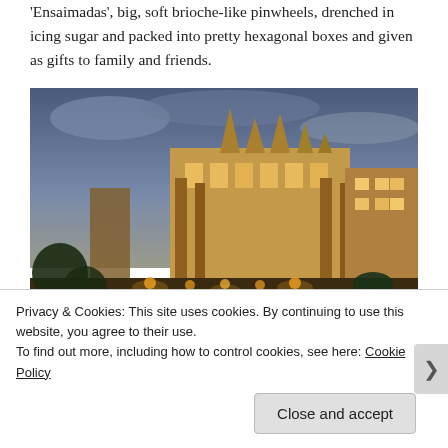'Ensaimadas', big, soft brioche-like pinwheels, drenched in icing sugar and packed into pretty hexagonal boxes and given as gifts to family and friends.
[Figure (photo): Night-time photograph of a large Gothic cathedral (likely the Cathedral of Palma, Mallorca) illuminated with warm orange lights, with trees and a walkway in the foreground against a dusky blue-grey sky.]
Privacy & Cookies: This site uses cookies. By continuing to use this website, you agree to their use.
To find out more, including how to control cookies, see here: Cookie Policy